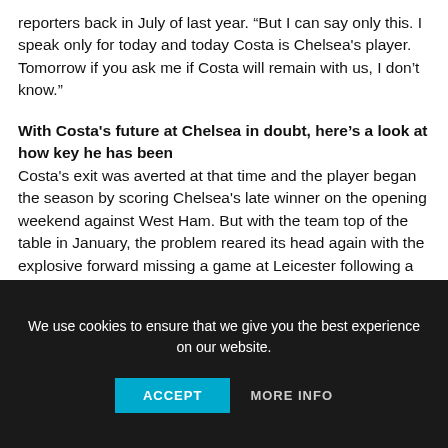reporters back in July of last year. “But I can say only this. I speak only for today and today Costa is Chelsea's player. Tomorrow if you ask me if Costa will remain with us, I don’t know.”
With Costa's future at Chelsea in doubt, here’s a look at how key he has been
Costa's exit was averted at that time and the player began the season by scoring Chelsea's late winner on the opening weekend against West Ham. But with the team top of the table in January, the problem reared its head again with the explosive forward missing a game at Leicester following a row with the club’s fitness coach. Chelsea won 3-0 nevertheless.
We use cookies to ensure that we give you the best experience on our website.